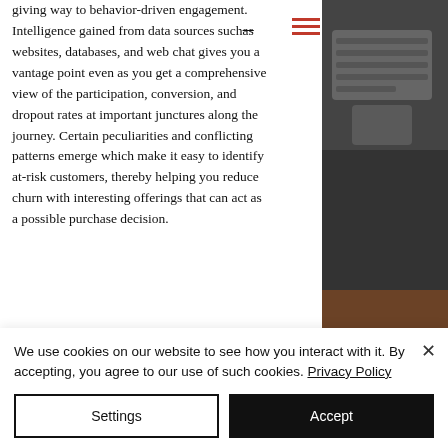giving way to behavior-driven engagement. Intelligence gained from data sources such as websites, databases, and web chat gives you a vantage point even as you get a comprehensive view of the participation, conversion, and dropout rates at important junctures along the journey. Certain peculiarities and conflicting patterns emerge which make it easy to identify at-risk customers, thereby helping you reduce churn with interesting offerings that can act as a possible purchase decision.
[Figure (photo): A laptop keyboard and trackpad on a dark wooden surface, shown in a dark/moody photographic style, cropped to show just the right portion of the laptop.]
We use cookies on our website to see how you interact with it. By accepting, you agree to our use of such cookies. Privacy Policy